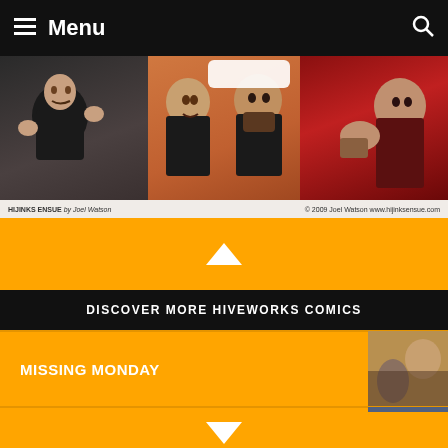Menu
[Figure (illustration): Comic strip panel from Hijinks Ensue by Joel Watson, three panels showing characters talking, © 2009 Joel Watson www.hijinksensue.com]
DISCOVER MORE HIVEWORKS COMICS
MISSING MONDAY
NO END
THE GLASS SCIENTISTS
FREAKSHOW
[UN]DIVINE